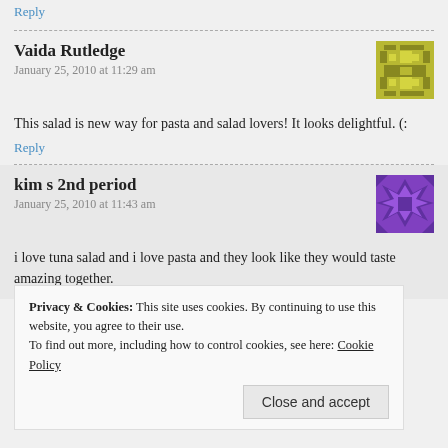Reply
Vaida Rutledge
January 25, 2010 at 11:29 am
[Figure (illustration): Olive/yellow geometric avatar icon with grid-like pattern]
This salad is new way for pasta and salad lovers! It looks delightful. (:
Reply
kim s 2nd period
January 25, 2010 at 11:43 am
[Figure (illustration): Purple geometric star/snowflake avatar icon]
i love tuna salad and i love pasta and they look like they would taste amazing together.
Privacy & Cookies: This site uses cookies. By continuing to use this website, you agree to their use.
To find out more, including how to control cookies, see here: Cookie Policy
Close and accept